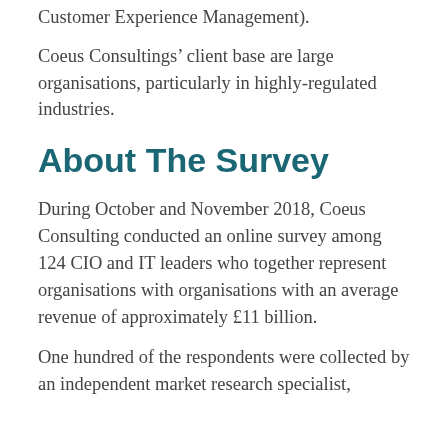Customer Experience Management).
Coeus Consultings’ client base are large organisations, particularly in highly-regulated industries.
About The Survey
During October and November 2018, Coeus Consulting conducted an online survey among 124 CIO and IT leaders who together represent organisations with organisations with an average revenue of approximately £11 billion.
One hundred of the respondents were collected by an independent market research specialist,